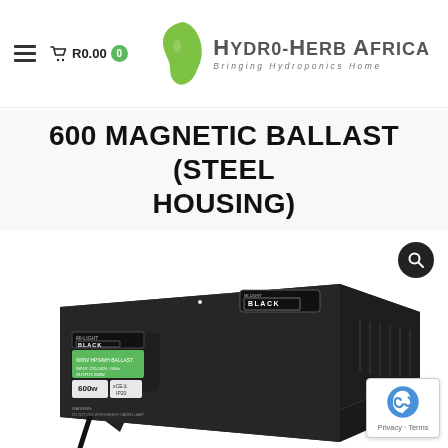Hydro-Herb Africa — Bringing Hydroponics Home. Cart: R0.00
600 MAGNETIC BALLAST (STEEL HOUSING)
[Figure (photo): Black steel housing magnetic ballast unit (600W) with BLACK brand label, shown at an angle on a white background. A search/zoom icon is visible in the top-right corner overlay. A reCAPTCHA badge is in the bottom-right.]